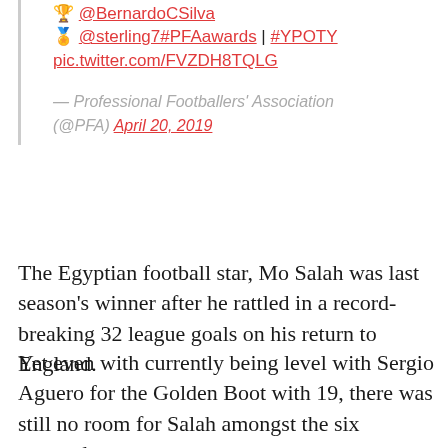🏆 @BernardoCSilva
🏅 @sterling7#PFAawards | #YPOTY pic.twitter.com/FVZDH8TQLG
— Professional Footballers' Association (@PFA) April 20, 2019
The Egyptian football star, Mo Salah was last season's winner after he rattled in a record-breaking 32 league goals on his return to England.
Yet even with currently being level with Sergio Aguero for the Golden Boot with 19, there was still no room for Salah amongst the six contenders.